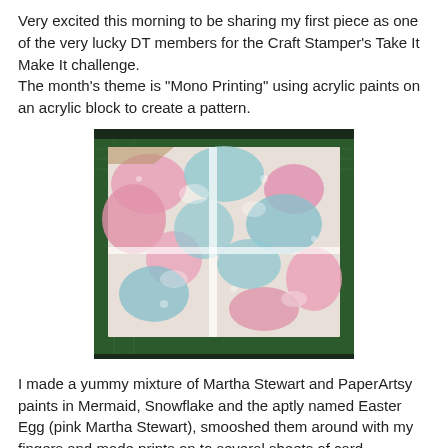Very excited this morning to be sharing my first piece as one of the very lucky DT members for the Craft Stamper's Take It Make It challenge.
The month's theme is "Mono Printing" using acrylic paints on an acrylic block to create a pattern.
[Figure (photo): A photo of a mono print artwork on white card showing a pattern of pink and light blue/teal paint impressions, with white areas creating a cross-like division, placed on a green cutting mat background.]
I made a yummy mixture of Martha Stewart and PaperArtsy paints in Mermaid, Snowflake and the aptly named Easter Egg (pink Martha Stewart), smooshed them around with my fingers and made prints on to several sheets of card, including Kraftcard as I wanted to see how they looked against something other than white. I then had a play with